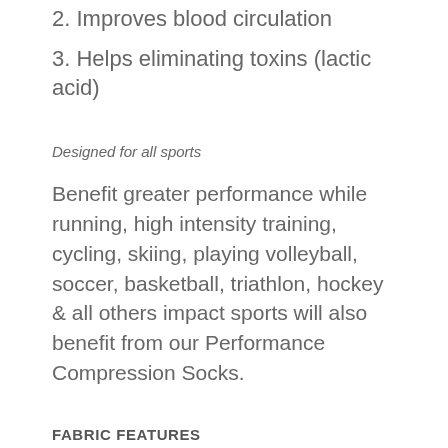2. Improves blood circulation
3. Helps eliminating toxins (lactic acid)
Designed for all sports
Benefit greater performance while running, high intensity training, cycling, skiing, playing volleyball, soccer, basketball, triathlon, hockey & all others impact sports will also benefit from our Performance Compression Socks.
FABRIC FEATURES
Moisture Control, blended fabric microfibers extract moisture away from the skin